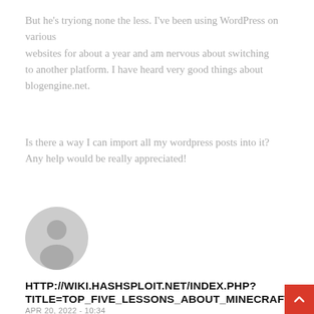But he's tryiong none the less. I've been using WordPress on various websites for about a year and am nervous about switching to another platform. I have heard very good things about blogengine.net.
Is there a way I can import all my wordpress posts into it? Any help would be really appreciated!
[Figure (illustration): Generic user avatar: grey circle with a person silhouette]
HTTP://WIKI.HASHSPLOIT.NET/INDEX.PHP?TITLE=TOP_FIVE_LESSONS_ABOUT_MINECRAFT_T
APR 20, 2022 - 10:34
Just wish to say your article is as astonishing.